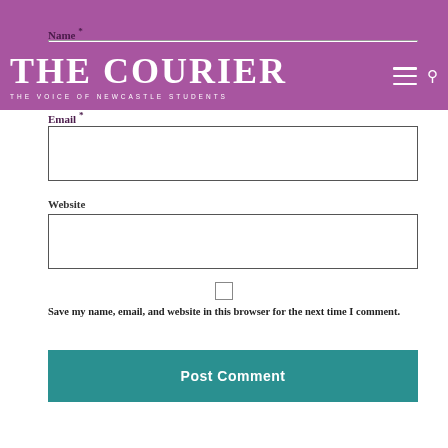THE COURIER — THE VOICE OF NEWCASTLE STUDENTS
Name *
Email *
Website
Save my name, email, and website in this browser for the next time I comment.
Post Comment